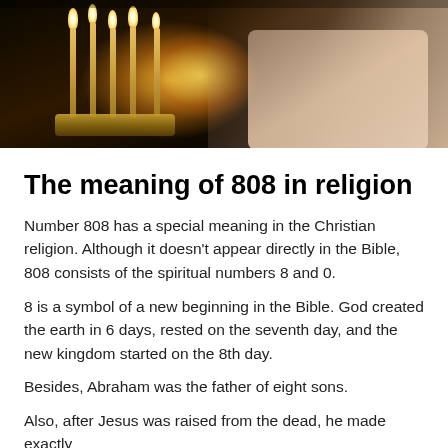[Figure (photo): A person lighting candles in a dark religious setting, with multiple lit candles visible and golden candleholders in the background.]
The meaning of 808 in religion
Number 808 has a special meaning in the Christian religion. Although it doesn’t appear directly in the Bible, 808 consists of the spiritual numbers 8 and 0.
8 is a symbol of a new beginning in the Bible. God created the earth in 6 days, rested on the seventh day, and the new kingdom started on the 8th day.
Besides, Abraham was the father of eight sons.
Also, after Jesus was raised from the dead, he made exactly